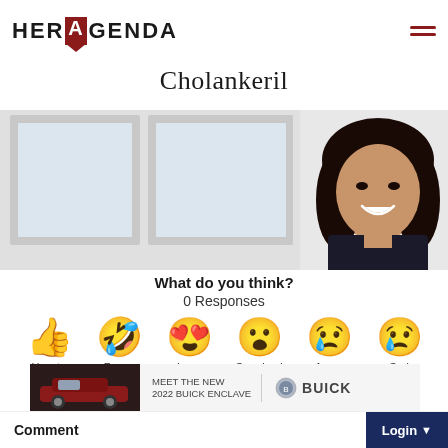HER AGENDA
Cholankeril
[Figure (photo): Profile photo of a woman with dark hair, smiling, in a professional setting with window background]
What do you think?
0 Responses
[Figure (infographic): Emoji reaction buttons: Upvote (thumbs up), Funny (laughing face), Love (heart eyes), Surprised (surprised face), Angry (crying/sad face), Sad (crying face)]
[Figure (photo): Advertisement: Meet the New 2022 Buick Enclave with Buick logo, showing red SUV]
Comment   Login